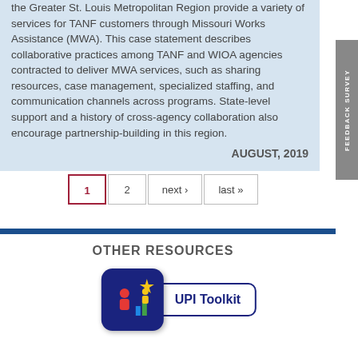the Greater St. Louis Metropolitan Region provide a variety of services for TANF customers through Missouri Works Assistance (MWA). This case statement describes collaborative practices among TANF and WIOA agencies contracted to deliver MWA services, such as sharing resources, case management, specialized staffing, and communication channels across programs. State-level support and a history of cross-agency collaboration also encourage partnership-building in this region.
AUGUST, 2019
1  2  next›  last»
OTHER RESOURCES
[Figure (logo): UPI Toolkit logo — dark blue rounded square containing a colorful icon (star, figures, bars) with a white pill-shaped label reading 'UPI Toolkit' in bold blue text]